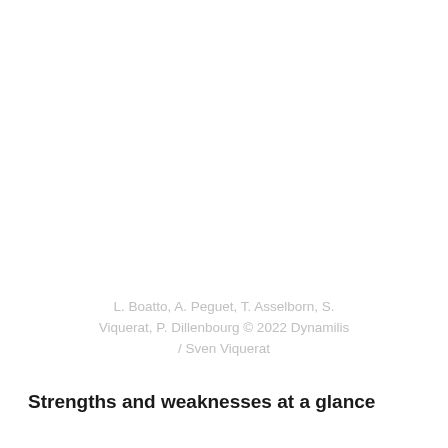L. Boatto, A. Peguet, T. Asselborn, S. Viquerat, P. Dillenbourg © 2022 Dynamilis / Sven Viquerat
Strengths and weaknesses at a glance